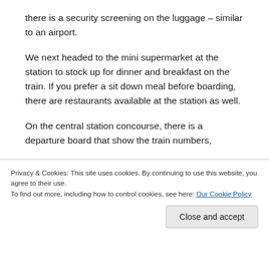there is a security screening on the luggage – similar to an airport.
We next headed to the mini supermarket at the station to stock up for dinner and breakfast on the train. If you prefer a sit down meal before boarding, there are restaurants available at the station as well.
On the central station concourse, there is a departure board that show the train numbers,
Privacy & Cookies: This site uses cookies. By continuing to use this website, you agree to their use.
To find out more, including how to control cookies, see here: Our Cookie Policy
Close and accept